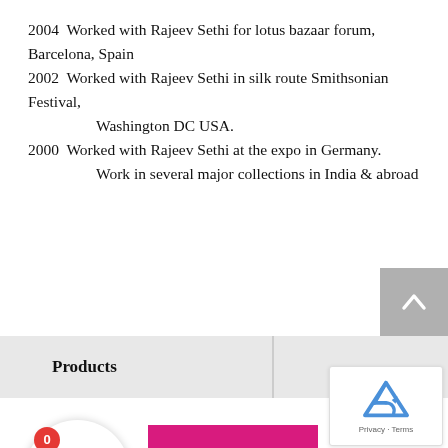2004 Worked with Rajeev Sethi for lotus bazaar forum, Barcelona, Spain
2002 Worked with Rajeev Sethi in silk route Smithsonian Festival,
        Washington DC USA.
2000 Worked with Rajeev Sethi at the expo in Germany.
        Work in several major collections in India & abroad
Products
[Figure (screenshot): Website UI elements: back-to-top button (gray with up arrow), Products navigation bar, shopping cart circle with badge showing 0, product image with pink background showing a hand holding an object, and a reCAPTCHA widget]